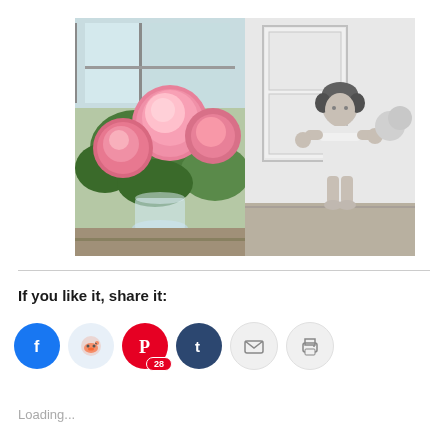[Figure (photo): Two-panel composite photo: left panel shows pink roses/peonies in a glass vase on a wooden table near a window (color photo); right panel shows a young toddler girl in a white dress holding flowers, standing against a white paneled door (black and white photo).]
If you like it, share it:
[Figure (infographic): Row of social share buttons: Facebook (blue circle with f icon), Reddit (light blue circle with alien icon), Pinterest (red circle with P icon and badge showing 28), Tumblr (dark blue circle with t icon), Email (light grey circle with envelope icon), Print (light grey circle with printer icon).]
Loading...